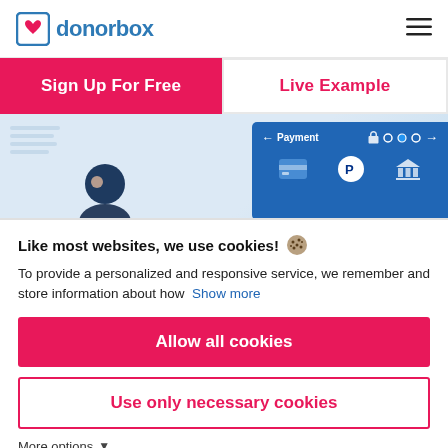donorbox
Sign Up For Free
Live Example
[Figure (screenshot): Donorbox website screenshot showing a payment step UI with blue background, a person illustration, and payment method icons]
Like most websites, we use cookies!
To provide a personalized and responsive service, we remember and store information about how  Show more
Allow all cookies
Use only necessary cookies
More options